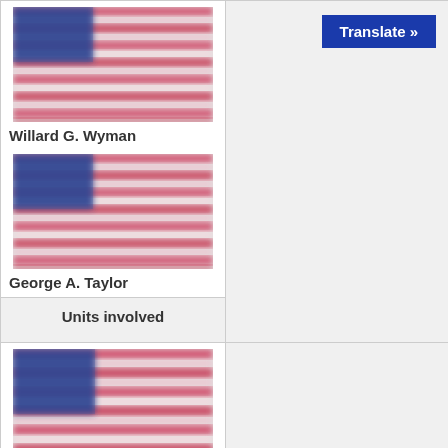[Figure (illustration): Blurred/stylized US flag image (top left cell, first row)]
Willard G. Wyman
[Figure (photo): Translate button (blue) in top right cell]
[Figure (illustration): Blurred/stylized US flag image (second entry in left column)]
George A. Taylor
Units involved
[Figure (illustration): Blurred/stylized US flag image (bottom left cell)]
V Corps1st Infantry Division29th Infantry DivisionUS Army Rangers US Navy
LXXXIV Corps352nd Infantry Division439th Ost-Battalion716th Infantry Division